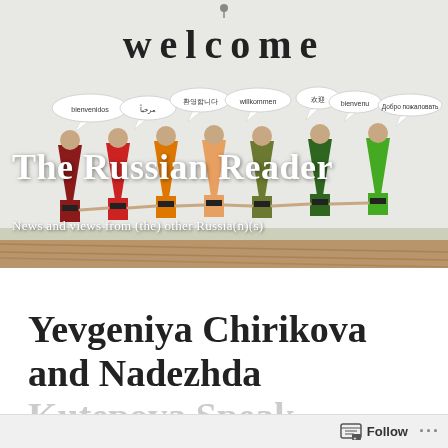[Figure (photo): A photograph of a welcome banner showing cartoon gnome/elf figures in different colors holding hands, with speech bubbles in multiple languages (bienvenidos, Arabic, 환영합니다, willkommen, مرحبا, स्वागत है, bienvenu, Chinese 欢迎, and Cyrillic). The banner reads 'welcome' in large letters at the top.]
The Russian Reader
News and views from (the) other Russia(n)(s)
Yevgeniya Chirikova and Nadezhda Kutepova Speak…